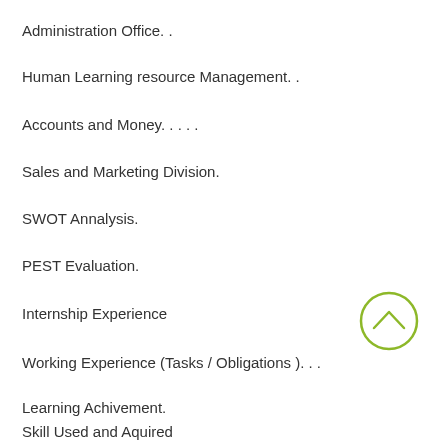Administration Office. .
Human Learning resource Management. .
Accounts and Money. . . . .
Sales and Marketing Division.
SWOT Annalysis.
PEST Evaluation.
Internship Experience
[Figure (illustration): A circular up-arrow button with olive/yellow-green outline]
Working Experience (Tasks / Obligations ). . .
Learning Achivement.
Skill Used and Aquired